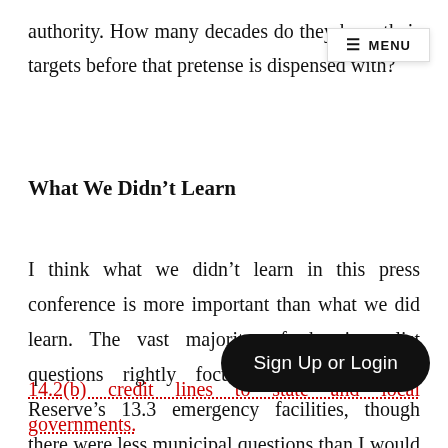authority. How many decades do they have their targets before that pretense is dispensed with?
What We Didn’t Learn
I think what we didn’t learn in this press conference is more important than what we did learn. The vast majority of the journalist questions rightly focused on the Federal Reserve’s 13.3 emergency facilities, though there were less municipal questions than I would like. I’m going to make AB■■■■■■■■■■ at November’s press conference ■■■■■
14.2(b) credit lines to state and local governments.